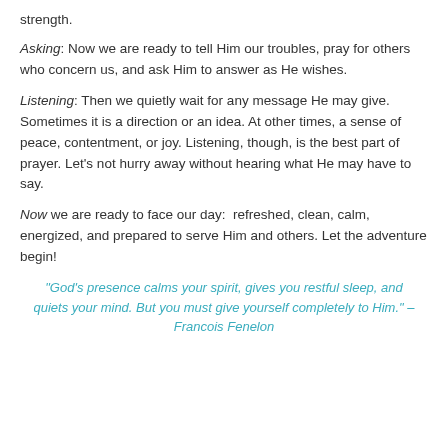strength.
Asking: Now we are ready to tell Him our troubles, pray for others who concern us, and ask Him to answer as He wishes.
Listening: Then we quietly wait for any message He may give. Sometimes it is a direction or an idea. At other times, a sense of peace, contentment, or joy. Listening, though, is the best part of prayer. Let's not hurry away without hearing what He may have to say.
Now we are ready to face our day:  refreshed, clean, calm, energized, and prepared to serve Him and others. Let the adventure begin!
“God’s presence calms your spirit, gives you restful sleep, and quiets your mind. But you must give yourself completely to Him.” – Francois Fenelon